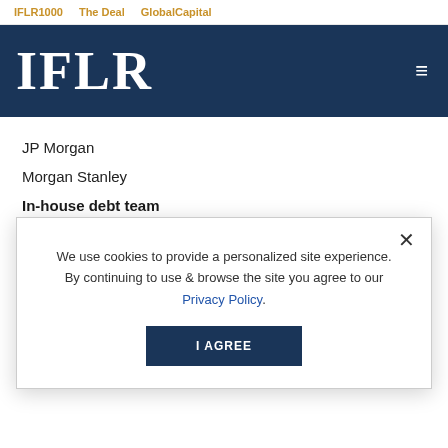IFLR1000   The Deal   GlobalCapital
IFLR
JP Morgan
Morgan Stanley
In-house debt team
Bank of America Merrill Lynch
Citigroup
Credit Suisse
We use cookies to provide a personalized site experience. By continuing to use & browse the site you agree to our Privacy Policy.
I AGREE